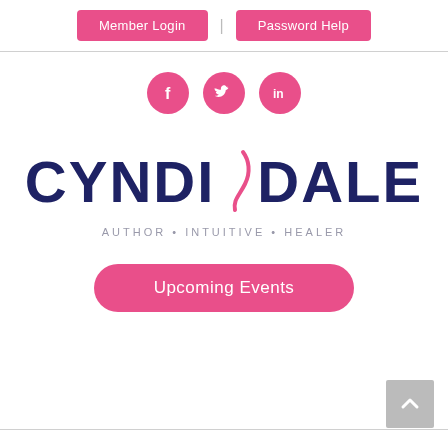Member Login | Password Help
[Figure (illustration): Three pink circular social media icons: Facebook (f), Twitter (bird), LinkedIn (in)]
[Figure (logo): Cyndi Dale logo — CYNDI (pink swirl) DALE in navy blue large text, with tagline AUTHOR • INTUITIVE • HEALER in grey below]
Upcoming Events